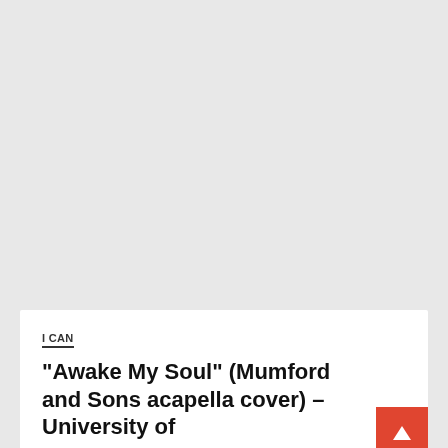[Figure (other): Gray background area filling upper portion of the page]
I CAN
"Awake My Soul" (Mumford and Sons acapella cover) – University of